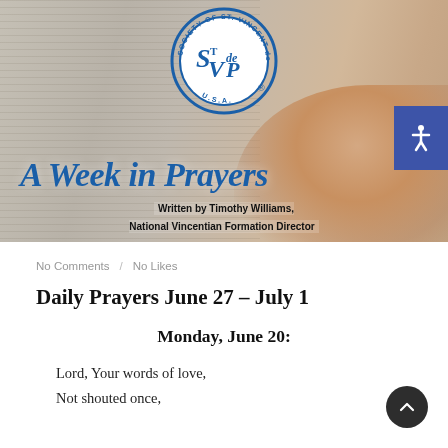[Figure (illustration): Hero banner image showing praying hands on an open Bible with the Society of St. Vincent de Paul USA circular blue logo at the top center. Cursive blue text reads 'A Week in Prayers' with bold black subtitle 'Written by Timothy Williams, National Vincentian Formation Director'. Blue accessibility icon in upper right corner.]
No Comments / No Likes
Daily Prayers June 27 – July 1
Monday, June 20:
Lord, Your words of love,
Not shouted once,